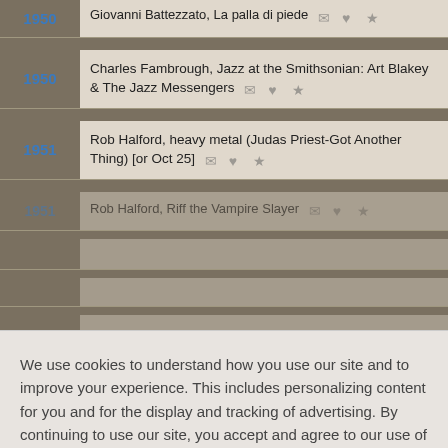1950 — Giovanni Battezzato, La palla di piede [icons]
1950 — Charles Fambrough, Jazz at the Smithsonian: Art Blakey & The Jazz Messengers [icons]
1951 — Rob Halford, heavy metal (Judas Priest-Got Another Thing) [or Oct 25] [icons]
1951 — Rob Halford, Riff the Vampire Slayer [partially visible]
We use cookies to understand how you use our site and to improve your experience. This includes personalizing content for you and for the display and tracking of advertising. By continuing to use our site, you accept and agree to our use of cookies. Privacy Policy
Got it!